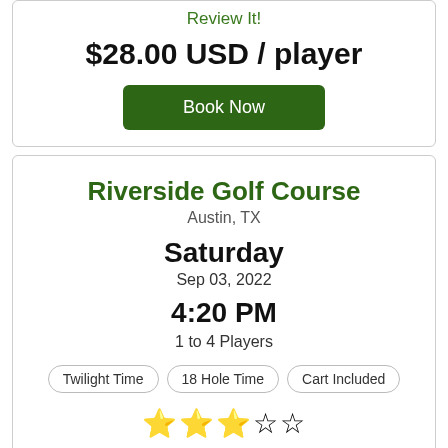Review It!
$28.00 USD / player
Book Now
Riverside Golf Course
Austin, TX
Saturday
Sep 03, 2022
4:20 PM
1 to 4 Players
Twilight Time
18 Hole Time
Cart Included
★★★☆☆
Played this course?
Review It!